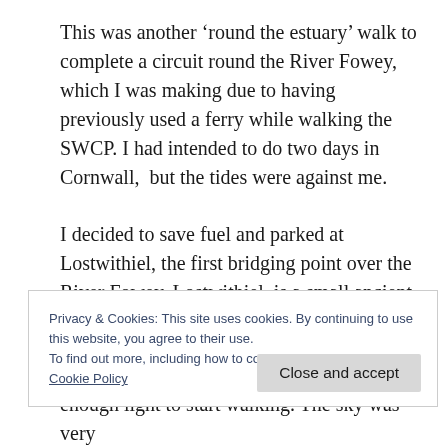This was another ‘round the estuary’ walk to complete a circuit round the River Fowey, which I was making due to having previously used a ferry while walking the SWCP. I had intended to do two days in Cornwall,  but the tides were against me.
I decided to save fuel and parked at Lostwithiel, the first bridging point over the River Fowey. Lostwithiel, is a small ancient market town and
Privacy & Cookies: This site uses cookies. By continuing to use this website, you agree to their use.
To find out more, including how to control cookies, see here:
Cookie Policy
Close and accept
enough light to start walking. The sky was very